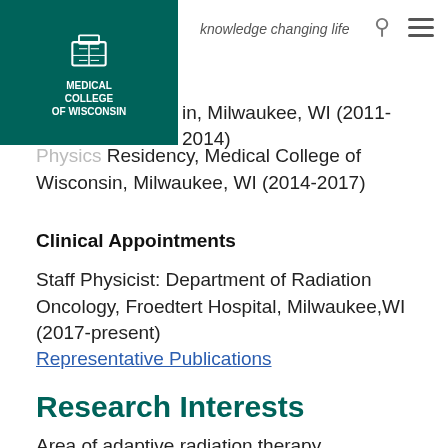knowledge changing life
in, Milwaukee, WI (2011-2014)
Physics Residency, Medical College of Wisconsin, Milwaukee, WI (2014-2017)
Clinical Appointments
Staff Physicist: Department of Radiation Oncology, Froedtert Hospital, Milwaukee,WI (2017-present)
Representative Publications
Research Interests
Area of adaptive radiation therapy